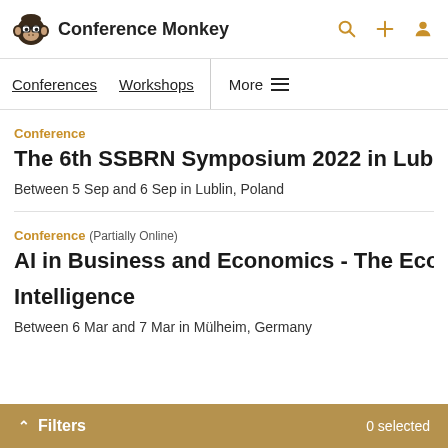Conference Monkey
Conferences   Workshops   More
Conference
The 6th SSBRN Symposium 2022 in Lublin, Poland
Between 5 Sep and 6 Sep in Lublin, Poland
Conference (Partially Online)
AI in Business and Economics - The Economic Pe... Intelligence
Between 6 Mar and 7 Mar in Mülheim, Germany
^ Filters   0 selected